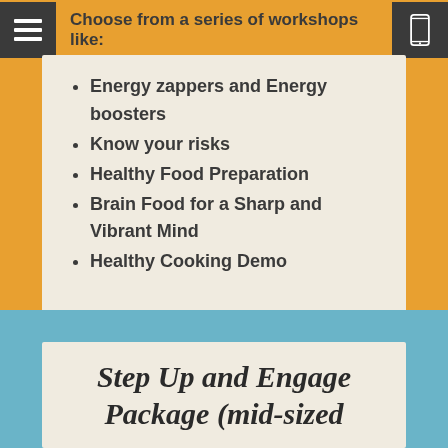Choose from a series of workshops like:
Energy zappers and Energy boosters
Know your risks
Healthy Food Preparation
Brain Food for a Sharp and Vibrant Mind
Healthy Cooking Demo
Step Up and Engage Package (mid-sized